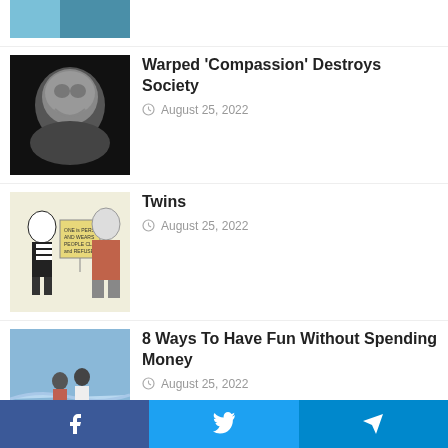[Figure (photo): Partial top thumbnail - blue gloved hand]
[Figure (photo): Black and white photo of a smiling woman]
Warped ‘Compassion’ Destroys Society
August 25, 2022
[Figure (illustration): Political cartoon showing two figures - a mime and an older man holding a sign]
Twins
August 25, 2022
[Figure (photo): Couple walking on a beach]
8 Ways To Have Fun Without Spending Money
August 25, 2022
[Figure (photo): Older man speaking into a microphone outdoors]
‘Reckless’: Obama Economist Tears Apart Biden’s Student Loan Forgiveness
August 25, 2022